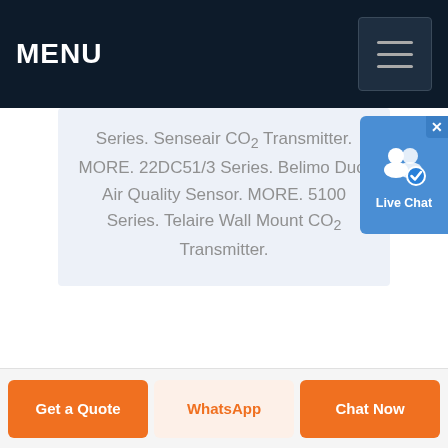MENU
Series. Senseair CO2 Transmitter. MORE. 22DC51/3 Series. Belimo Duct Air Quality Sensor. MORE. 5100 Series. Telaire Wall Mount CO2 Transmitter.
[Figure (screenshot): Live Chat button overlay with user icon and checkmark badge]
Get a Quote | WhatsApp | Chat Now